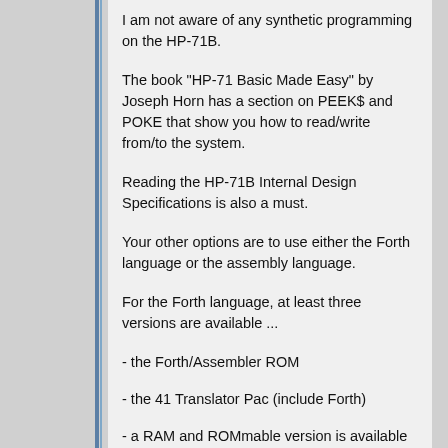I am not aware of any synthetic programming on the HP-71B.
The book "HP-71 Basic Made Easy" by Joseph Horn has a section on PEEK$ and POKE that show you how to read/write from/to the system.
Reading the HP-71B Internal Design Specifications is also a must.
Your other options are to use either the Forth language or the assembly language.
For the Forth language, at least three versions are available ...
- the Forth/Assembler ROM
- the 41 Translator Pac (include Forth)
- a RAM and ROMmable version is available on the J-F Garnier site.
For the native code, at least three assemblers are available ...